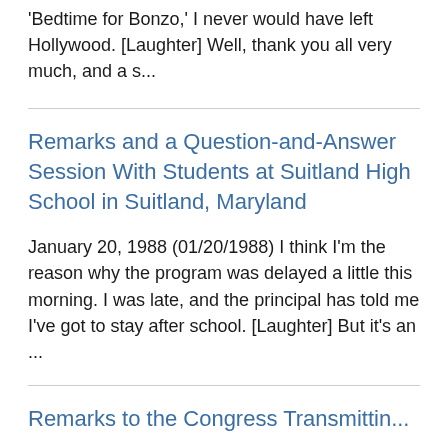'Bedtime for Bonzo,' I never would have left Hollywood. [Laughter] Well, thank you all very much, and a s...
Remarks and a Question-and-Answer Session With Students at Suitland High School in Suitland, Maryland
January 20, 1988 (01/20/1988) I think I'm the reason why the program was delayed a little this morning. I was late, and the principal has told me I've got to stay after school. [Laughter] But it's an ...
Remarks to the Congress Transmitting...